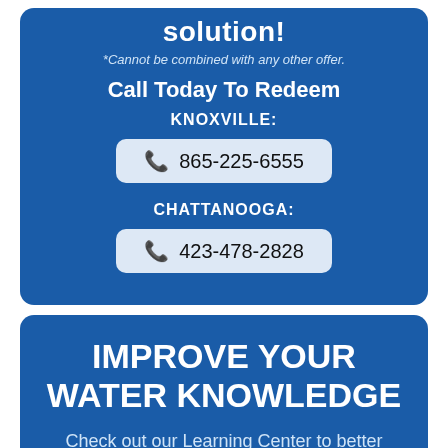solution!
*Cannot be combined with any other offer.
Call Today To Redeem
KNOXVILLE:
865-225-6555
CHATTANOOGA:
423-478-2828
IMPROVE YOUR WATER KNOWLEDGE
Check out our Learning Center to better understand your water needs.
Get More Information